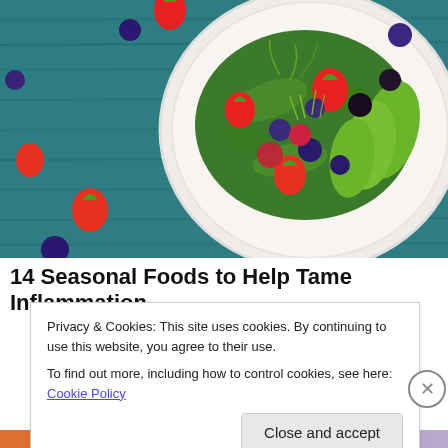[Figure (photo): Overhead photo of a decorative plate with colorful salad topped with strawberries, blueberries, raspberries, blackberries, avocado slices, and green leaves, on a teal/blue wooden background with scattered berries around the plate.]
14 Seasonal Foods to Help Tame Inflammation
Privacy & Cookies: This site uses cookies. By continuing to use this website, you agree to their use.
To find out more, including how to control cookies, see here: Cookie Policy
Close and accept